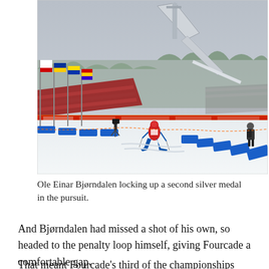[Figure (photo): Winter biathlon competition venue with a large ski jump ramp in the background. A competitor in a colorful jersey skis through a race course marked with blue barriers. Stands are filled with spectators. Flags line the left side. Snow covers the ground and trees in the background.]
Ole Einar Bjørndalen locking up a second silver medal in the pursuit.
And Bjørndalen had missed a shot of his own, so headed to the penalty loop himself, giving Fourcade a comfortable gap.
That meant Fourcade's third of the championships